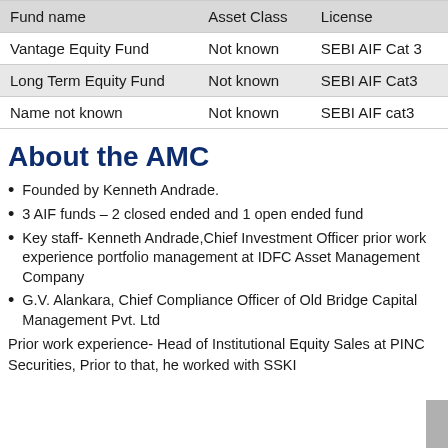| Fund name | Asset Class | License |
| --- | --- | --- |
| Vantage Equity Fund | Not known | SEBI AIF Cat 3 |
| Long Term Equity Fund | Not known | SEBI AIF Cat3 |
| Name not known | Not known | SEBI AIF cat3 |
About the AMC
Founded by Kenneth Andrade.
3 AIF funds – 2 closed ended and 1 open ended fund
Key staff- Kenneth Andrade,Chief Investment Officer prior work experience portfolio management at IDFC Asset Management Company
G.V. Alankara, Chief Compliance Officer of Old Bridge Capital Management Pvt. Ltd
Prior work experience- Head of Institutional Equity Sales at PINC Securities, Prior to that, he worked with SSKI